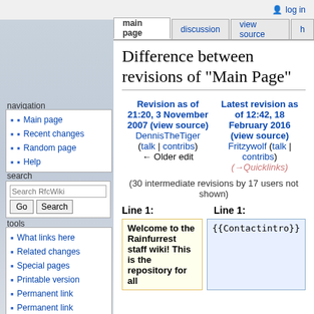log in
main page | discussion | view source
Difference between revisions of "Main Page"
| Revision as of 21:20, 3 November 2007 (view source) | Latest revision as of 12:42, 18 February 2016 (view source) |
| --- | --- |
| DennisTheTiger | Fritzywolf (talk | contribs) |
| (talk | contribs) | (→Quicklinks) |
| ← Older edit |  |
(30 intermediate revisions by 17 users not shown)
Line 1:
Line 1:
Welcome to the Rainfurrest staff wiki! This is the repository for all
{{Contactintro}}
Main page
Recent changes
Random page
Help
What links here
Related changes
Special pages
Printable version
Permanent link